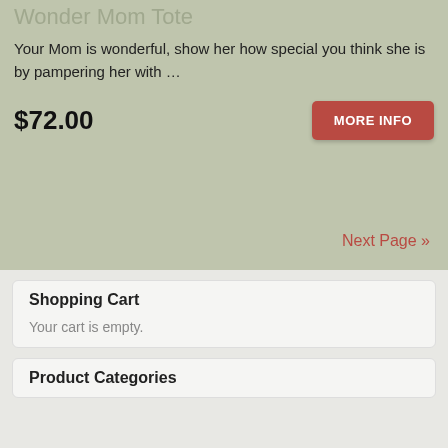Wonder Mom Tote
Your Mom is wonderful, show her how special you think she is by pampering her with …
$72.00
Next Page »
Shopping Cart
Your cart is empty.
Product Categories